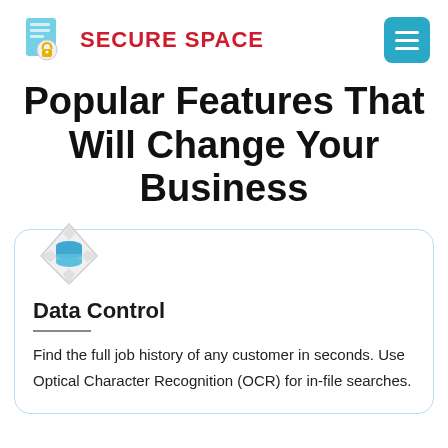SECURE SPACE
Popular Features That Will Change Your Business
[Figure (logo): Blue database stack icon inside a diamond/compass shape]
Data Control
Find the full job history of any customer in seconds. Use Optical Character Recognition (OCR) for in-file searches.